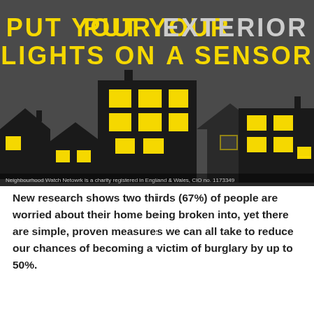[Figure (infographic): Dark grey background infographic showing silhouettes of houses at night with yellow lit windows. Title text reads 'PUT YOUR EXTERIOR LIGHTS ON A SENSOR' in bold yellow and grey capitals. Bottom footer text reads 'Neighbourhood Watch Netowrk is a charity registered in England & Wales, CIO no. 1173349'.]
New research shows two thirds (67%) of people are worried about their home being broken into, yet there are simple, proven measures we can all take to reduce our chances of becoming a victim of burglary by up to 50%.